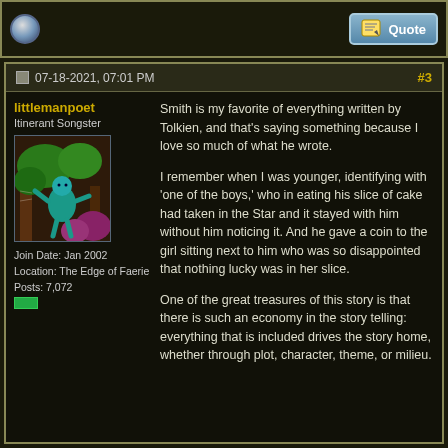[Figure (screenshot): Forum post top bar with globe icon on left and Quote button on right]
07-18-2021, 07:01 PM  #3
littlemanpoet
Itinerant Songster
Join Date: Jan 2002
Location: The Edge of Faerie
Posts: 7,072
[Figure (illustration): Colorful illustrated avatar showing a cartoon figure among trees]
Smith is my favorite of everything written by Tolkien, and that's saying something because I love so much of what he wrote.

I remember when I was younger, identifying with 'one of the boys,' who in eating his slice of cake had taken in the Star and it stayed with him without him noticing it. And he gave a coin to the girl sitting next to him who was so disappointed that nothing lucky was in her slice.

One of the great treasures of this story is that there is such an economy in the story telling: everything that is included drives the story home, whether through plot, character, theme, or milieu.